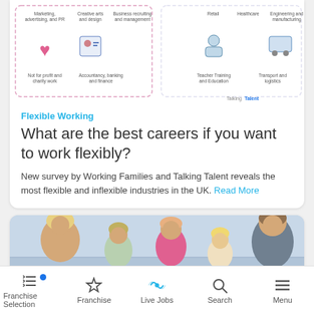[Figure (infographic): Infographic showing various career/industry icons including Marketing/Advertising/PR, Creative Arts and Design, Business Recruiting and Management, Retail, Healthcare, Engineering and Manufacturing, Not for Profit and Charity Work, Accountancy Banking and Finance, Teacher Training and Education, Transport and Logistics. Shows TalkingTalent branding.]
Flexible Working
What are the best careers if you want to work flexibly?
New survey by Working Families and Talking Talent reveals the most flexible and inflexible industries in the UK. Read More
[Figure (photo): Family photo of a woman, man and three young children outdoors near water, smiling at the camera.]
Franchise Selection | Franchise | Live Jobs | Search | Menu